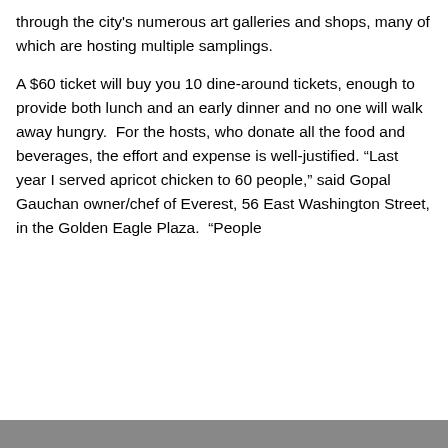through the city's numerous art galleries and shops, many of which are hosting multiple samplings.
A $60 ticket will buy you 10 dine-around tickets, enough to provide both lunch and an early dinner and no one will walk away hungry.  For the hosts, who donate all the food and beverages, the effort and expense is well-justified. “Last year I served apricot chicken to 60 people,” said Gopal Gauchan owner/chef of Everest, 56 East Washington Street, in the Golden Eagle Plaza.  “People
Privacy & Cookies: This site uses cookies. By continuing to use this website, you agree to their use.
To find out more, including how to control cookies, see here: Cookie Policy